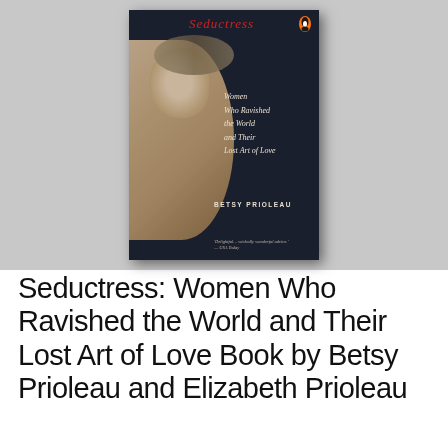[Figure (photo): A photograph of a book titled 'Seductress: Women Who Ravished the World and Their Lost Art of Love' by Betsy Prioleau, dark navy cover with a painting of a woman's face and bare shoulder on the left side, placed upright on a light grey surface.]
Seductress: Women Who Ravished the World and Their Lost Art of Love Book by Betsy Prioleau and Elizabeth Prioleau